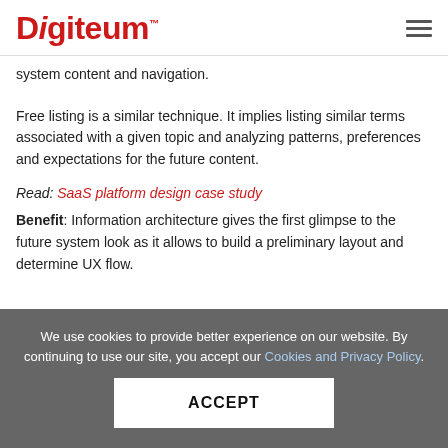Digiteum
system content and navigation.
Free listing is a similar technique. It implies listing similar terms associated with a given topic and analyzing patterns, preferences and expectations for the future content.
Read: SaaS platform design case study
Benefit: Information architecture gives the first glimpse to the future system look as it allows to build a preliminary layout and determine UX flow.
We use cookies to provide better experience on our website. By continuing to use our site, you accept our Cookies and Privacy Policy.
ACCEPT